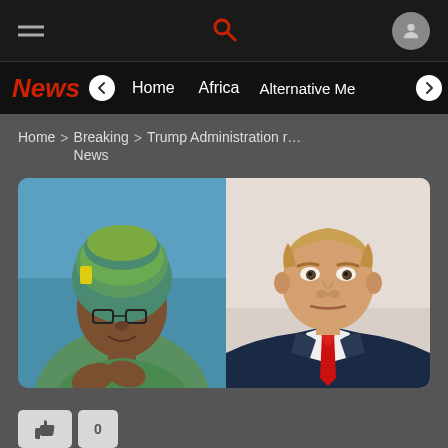Navigation bar with hamburger menu, search icon, and user icon
News | Home | Africa | Alternative Me...
Home > Breaking News > Trump Administration r...
[Figure (photo): Composite photo of two people side by side: on the left, a woman wearing a green and yellow patterned headwrap and matching outfit, clapping hands; on the right, a man in a dark navy suit with a red tie, looking directly at the camera.]
👍 0